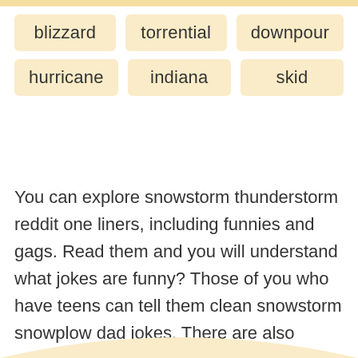blizzard
torrential
downpour
hurricane
indiana
skid
You can explore snowstorm thunderstorm reddit one liners, including funnies and gags. Read them and you will understand what jokes are funny? Those of you who have teens can tell them clean snowstorm snowplow dad jokes. There are also snowstorm puns for kids, 5 year olds, boys and girls.